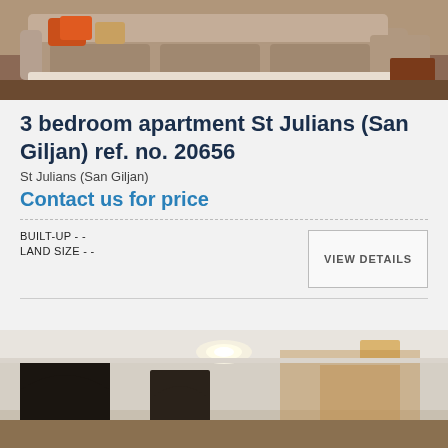[Figure (photo): Photo of a large L-shaped sectional sofa in brown/taupe fabric with orange decorative pillows, on a dark hardwood floor]
3 bedroom apartment St Julians (San Giljan) ref. no. 20656
St Julians (San Giljan)
Contact us for price
BUILT-UP - -
LAND SIZE - -
VIEW DETAILS
[Figure (photo): Interior photo of an apartment hallway/room with white walls, ceiling lights, and archways]